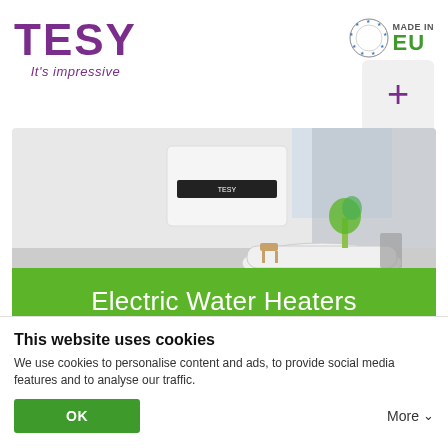[Figure (logo): TESY brand logo in purple with tagline 'It's impressive' and 'Made in EU' badge with green EU text and star circle on the right, plus a plus-sign icon box]
[Figure (photo): Photo of a TESY electric water heater mounted on a wall in a white bathroom with a freestanding bathtub and a green plant]
Electric Water Heaters
Electric Water Heaters Catalogue
This website uses cookies
We use cookies to personalise content and ads, to provide social media features and to analyse our traffic.
OK
More